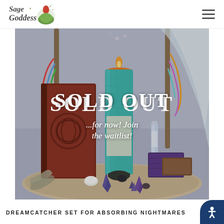[Figure (logo): Sage Goddess logo — stylized script text with a seated woman figure in green]
[Figure (photo): Product photo showing dreamcatcher set with a teal pillar candle, red leather journal, purple soap bar, blue roller bottle, and crystals on a wooden surface with dreamcatcher in background. Overlaid text reads SOLD OUT and ...for now! Join the waitlist!]
DREAMCATCHER SET FOR ABSORBING NIGHTMARES